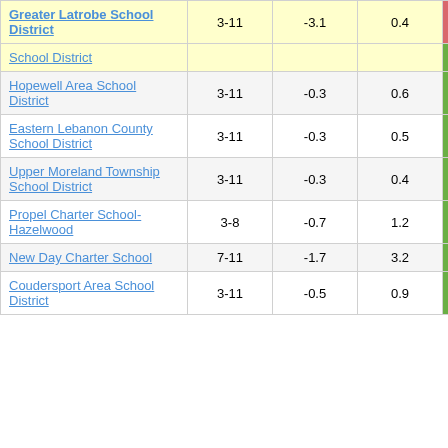| School District | Grades | Col3 | Col4 | Score |
| --- | --- | --- | --- | --- |
| Greater Latrobe School District | 3-11 | -3.1 | 0.4 | -7.50 |
| School District |  |  |  |  |
| Hopewell Area School District | 3-11 | -0.3 | 0.6 | -0.58 |
| Eastern Lebanon County School District | 3-11 | -0.3 | 0.5 | -0.57 |
| Upper Moreland Township School District | 3-11 | -0.3 | 0.4 | -0.57 |
| Propel Charter School-Hazelwood | 3-8 | -0.7 | 1.2 | -0.56 |
| New Day Charter School | 7-11 | -1.7 | 3.2 | -0.53 |
| Coudersport Area School District | 3-11 | -0.5 | 0.9 | -0.53 |